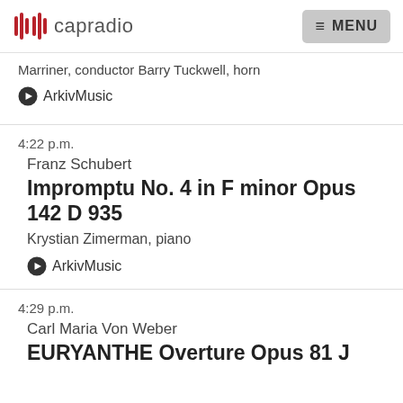capradio | MENU
Marriner, conductor Barry Tuckwell, horn
▶ ArkivMusic
4:22 p.m.
Franz Schubert
Impromptu No. 4 in F minor Opus 142 D 935
Krystian Zimerman, piano
▶ ArkivMusic
4:29 p.m.
Carl Maria Von Weber
EURYANTHE Overture Opus 81 J